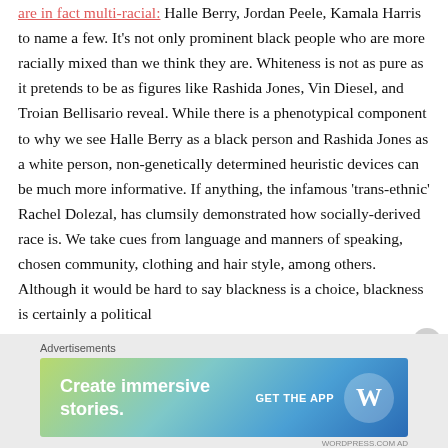are in fact multi-racial: Halle Berry, Jordan Peele, Kamala Harris to name a few. It's not only prominent black people who are more racially mixed than we think they are. Whiteness is not as pure as it pretends to be as figures like Rashida Jones, Vin Diesel, and Troian Bellisario reveal. While there is a phenotypical component to why we see Halle Berry as a black person and Rashida Jones as a white person, non-genetically determined heuristic devices can be much more informative. If anything, the infamous 'trans-ethnic' Rachel Dolezal, has clumsily demonstrated how socially-derived race is. We take cues from language and manners of speaking, chosen community, clothing and hair style, among others. Although it would be hard to say blackness is a choice, blackness is certainly a political
[Figure (other): Advertisement banner: 'Create immersive stories. GET THE APP' with WordPress logo on a blue-green gradient background]